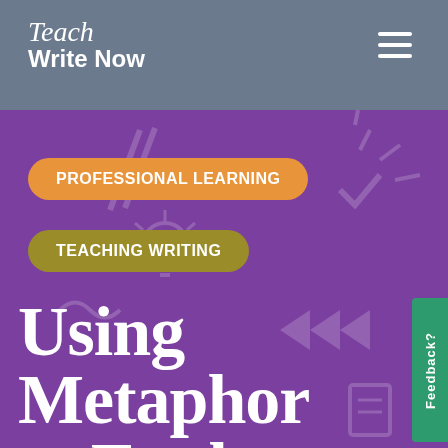Teach Write Now
PROFESSIONAL LEARNING
TEACHING WRITING
Using Metaphor to Explore